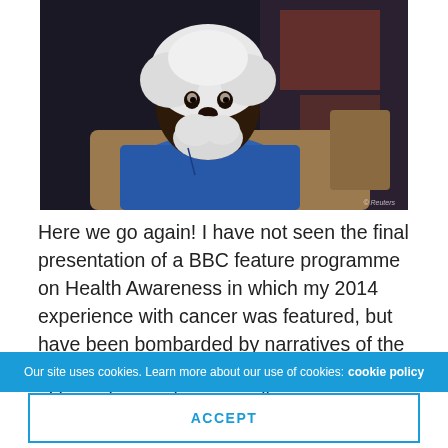[Figure (photo): An elderly Black man with white afro hair and a white beard, wearing a blue shirt, seated on a brown leather sofa against a dark background. Reuters credit visible in bottom right corner.]
Here we go again! I have not seen the final presentation of a BBC feature programme on Health Awareness in which my 2014 experience with cancer was featured, but have been bombarded by narratives of the most disquieting nature, distortions through either misreporting or media
Our site uses cookies. Learn more about our use of cookies: cookie policy
ACCEPT